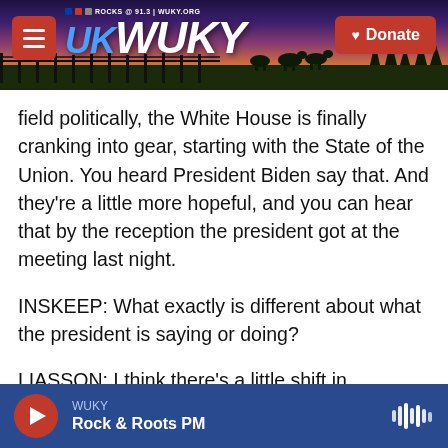[Figure (screenshot): WUKY NPR radio station website header with logo, hamburger menu, donate button, and scenic Kentucky landscape background]
field politically, the White House is finally cranking into gear, starting with the State of the Union. You heard President Biden say that. And they're a little more hopeful, and you can hear that by the reception the president got at the meeting last night.
INSKEEP: What exactly is different about what the president is saying or doing?
LIASSON: I think there's a little shift in emphasis. Biden is trying to regain his brand as a unifier who can competently govern. You know, for a while, he
WUKY Rock & Roots PM